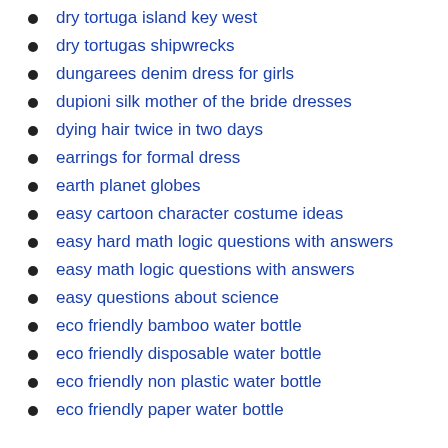dry tortuga island key west
dry tortugas shipwrecks
dungarees denim dress for girls
dupioni silk mother of the bride dresses
dying hair twice in two days
earrings for formal dress
earth planet globes
easy cartoon character costume ideas
easy hard math logic questions with answers
easy math logic questions with answers
easy questions about science
eco friendly bamboo water bottle
eco friendly disposable water bottle
eco friendly non plastic water bottle
eco friendly paper water bottle